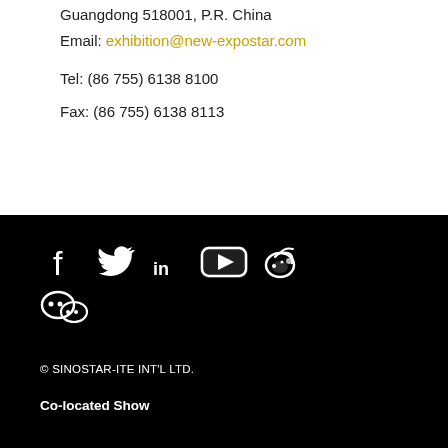Guangdong 518001, P.R. China
Email: exhibition@new-expostar.com
Tel: (86 755) 6138 8100
Fax: (86 755) 6138 8113
[Figure (infographic): Social media icons row: Facebook, Twitter, LinkedIn, YouTube, Weibo; second row: WeChat icon. All white icons on black background.]
© SINOSTAR-ITE INT'L LTD.
Co-located Show
[Figure (logo): CHINACOAT2022 logo in red and orange on white background]